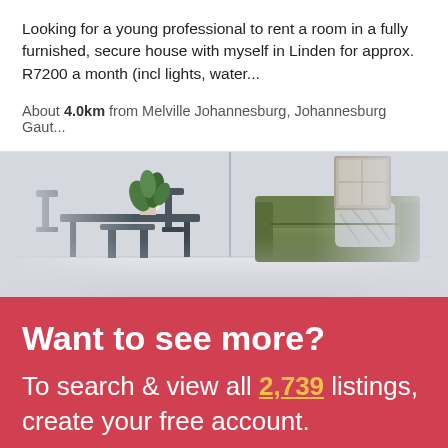Looking for a young professional to rent a room in a fully furnished, secure house with myself in Linden for approx. R7200 a month (incl lights, water...
About 4.0km from Melville Johannesburg, Johannesburg Gaut...
[Figure (photo): Interior room photo showing a dining table with chairs on the left and a green sofa with a decorative pillow on the right, against a light grey/white wall with a plant.]
Want to see more?
To search & view all 2,739 listings, create your free account.